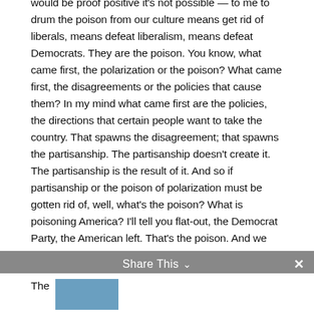would be proof positive it's not possible — to me to drum the poison from our culture means get rid of liberals, means defeat liberalism, means defeat Democrats. They are the poison. You know, what came first, the polarization or the poison? What came first, the disagreements or the policies that cause them? In my mind what came first are the policies, the directions that certain people want to take the country. That spawns the disagreement; that spawns the partisanship. The partisanship doesn't create it. The partisanship is the result of it. And so if partisanship or the poison of polarization must be gotten rid of, well, what's the poison? What is poisoning America? I'll tell you flat-out, the Democrat Party, the American left. That's the poison. And we see it. The Democrat Party has been running this country for the last four years. Pelosi and the Democrats assuming office in 2007, Obama in 2008, that's the poison. There are some Republicans who hold responsibility, too, because they behaved like Democrats.
Share This
The